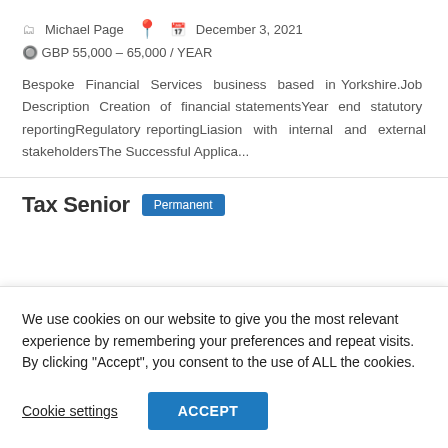Michael Page   📍   December 3, 2021
GBP 55,000 – 65,000 / YEAR
Bespoke Financial Services business based in Yorkshire.Job Description Creation of financial statementsYear end statutory reportingRegulatory reportingLiasion with internal and external stakeholdersThe Successful Applica...
Tax Senior   Permanent
We use cookies on our website to give you the most relevant experience by remembering your preferences and repeat visits. By clicking “Accept”, you consent to the use of ALL the cookies.
Cookie settings   ACCEPT